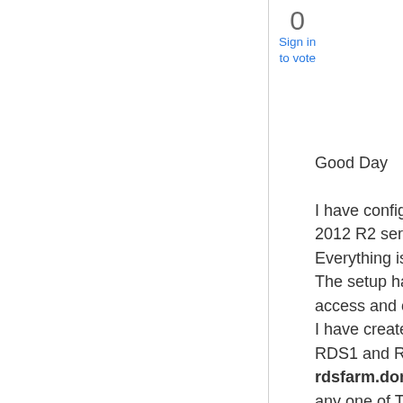0
Sign in
to vote
Good Day

I have configured standard RDS session based deployment recently on 2012 R2 servers
Everything is working as expected
The setup has TWO RD Session host, 1 Session Broker, one RD Web access and one RD Gateway
I have created 2 DNS records named Rdsfarm.domain.com for my RDS1 and RDS2 session host servers and if I connect to this rdsfarm.domain.com with RDP from TS clients, i am able to connect to any one of TWO rds servers without any problem
However some part is not clear to me
I have not added rdsfarm.domain.com any where